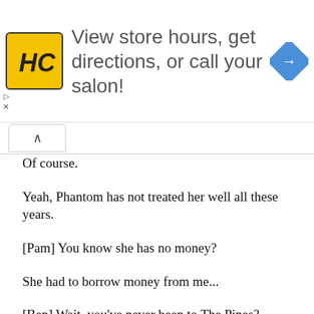[Figure (infographic): Advertisement banner: HC Salons logo (yellow square with HC text), text 'View store hours, get directions, or call your salon!', and a blue diamond navigation icon on the right.]
Of course.
Yeah, Phantom has not treated her well all these years.
[Pam] You know she has no money?
She had to borrow money from me...
[Ben] Wait, you've never been to The Pines?